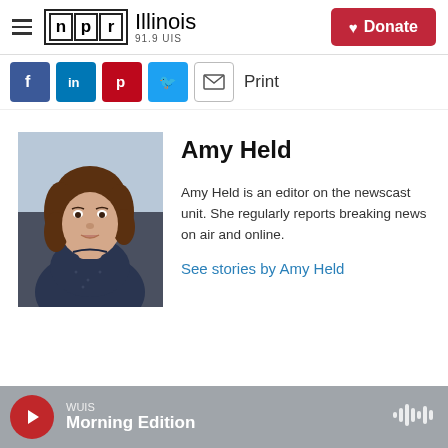NPR Illinois 91.9 UIS — Donate
[Figure (other): Social sharing buttons: Facebook, LinkedIn, Pinterest, Twitter, Email, and Print]
[Figure (photo): Headshot photo of Amy Held, a young woman with curly brown hair wearing a dark dotted blouse]
Amy Held
Amy Held is an editor on the newscast unit. She regularly reports breaking news on air and online.
See stories by Amy Held
WUIS Morning Edition — play button and audio waveform